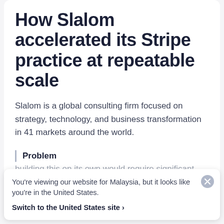How Slalom accelerated its Stripe practice at repeatable scale
Slalom is a global consulting firm focused on strategy, technology, and business transformation in 41 markets around the world.
Problem
You're viewing our website for Malaysia, but it looks like you're in the United States.
Switch to the United States site ›
building this on its own would require significant